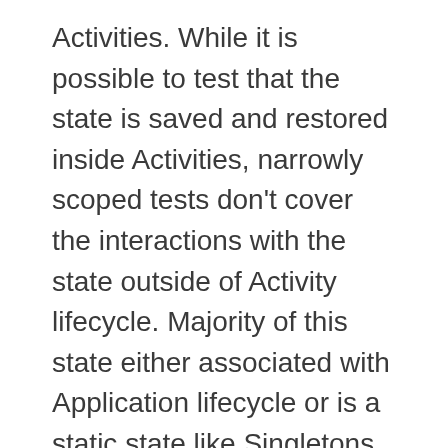Activities. While it is possible to test that the state is saved and restored inside Activities, narrowly scoped tests don't cover the interactions with the state outside of Activity lifecycle. Majority of this state either associated with Application lifecycle or is a static state like Singletons, both of which are not preserved during save and restore.
So, in order to reliably test save and restore we need to operate at